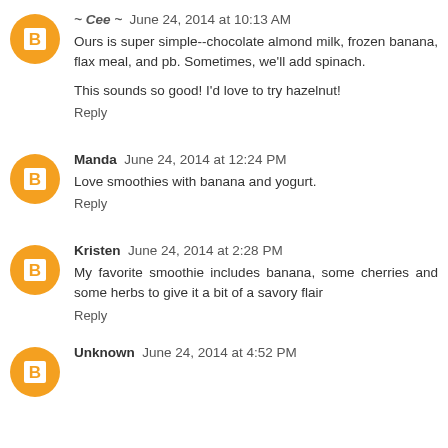~ Cee ~ June 24, 2014 at 10:13 AM
Ours is super simple--chocolate almond milk, frozen banana, flax meal, and pb. Sometimes, we'll add spinach.

This sounds so good! I'd love to try hazelnut!
Reply
Manda June 24, 2014 at 12:24 PM
Love smoothies with banana and yogurt.
Reply
Kristen June 24, 2014 at 2:28 PM
My favorite smoothie includes banana, some cherries and some herbs to give it a bit of a savory flair
Reply
Unknown June 24, 2014 at 4:52 PM